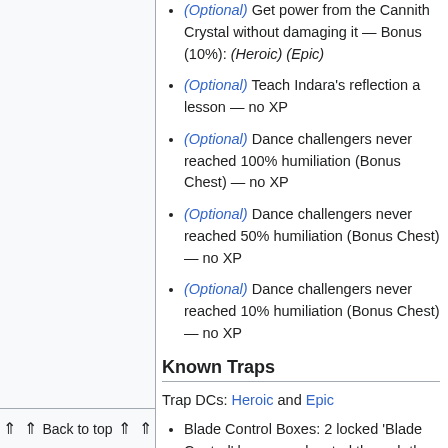(Optional) Get power from the Cannith Crystal without damaging it — Bonus (10%): (Heroic) (Epic)
(Optional) Teach Indara's reflection a lesson — no XP
(Optional) Dance challengers never reached 100% humiliation (Bonus Chest) — no XP
(Optional) Dance challengers never reached 50% humiliation (Bonus Chest) — no XP
(Optional) Dance challengers never reached 10% humiliation (Bonus Chest) — no XP
Known Traps
Trap DCs: Heroic and Epic
Blade Control Boxes: 2 locked 'Blade Control' boxes are located through the hall reflecting area. The disable b